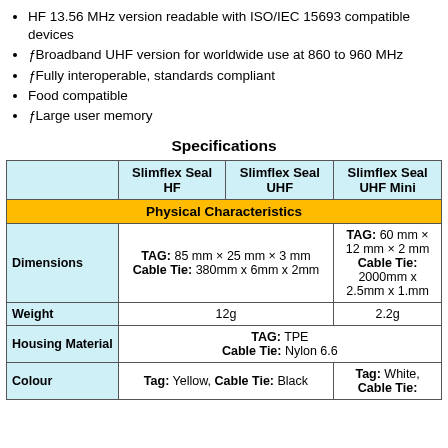HF 13.56 MHz version readable with ISO/IEC 15693 compatible devices
ƒBroadband UHF version for worldwide use at 860 to 960 MHz
ƒFully interoperable, standards compliant
Food compatible
ƒLarge user memory
Specifications
|  | Slimflex Seal HF | Slimflex Seal UHF | Slimflex Seal UHF Mini |
| --- | --- | --- | --- |
| Physical Characteristics |  |  |  |
| Dimensions | TAG: 85 mm × 25 mm × 3 mm
Cable Tie: 380mm x 6mm x 2mm |  | TAG: 60 mm × 12 mm × 2 mm
Cable Tie: 2000mm x 2.5mm x 1.mm |
| Weight | 12g |  | 2.2g |
| Housing Material | TAG: TPE
Cable Tie: Nylon 6.6 |  |  |
| Colour | Tag: Yellow, Cable Tie: Black |  | Tag: White, Cable Tie: |